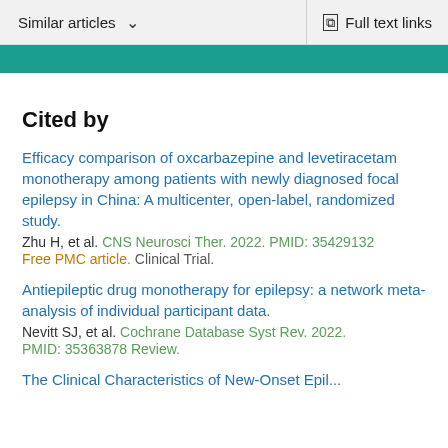Similar articles  ∨    Full text links
Cited by
Efficacy comparison of oxcarbazepine and levetiracetam monotherapy among patients with newly diagnosed focal epilepsy in China: A multicenter, open-label, randomized study.
Zhu H, et al. CNS Neurosci Ther. 2022. PMID: 35429132 Free PMC article. Clinical Trial.
Antiepileptic drug monotherapy for epilepsy: a network meta-analysis of individual participant data.
Nevitt SJ, et al. Cochrane Database Syst Rev. 2022. PMID: 35363878 Review.
The Clinical Characteristics of New-Onset Epilepsy...